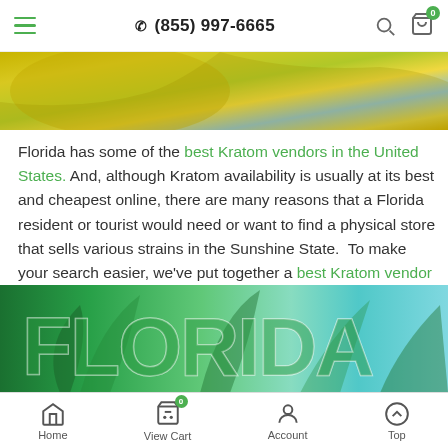≡  (855) 997-6665  🔍  🛒 0
[Figure (photo): Decorative banner image with yellow sandy and colorful background]
Florida has some of the best Kratom vendors in the United States. And, although Kratom availability is usually at its best and cheapest online, there are many reasons that a Florida resident or tourist would need or want to find a physical store that sells various strains in the Sunshine State.  To make your search easier, we've put together a best Kratom vendor list of some of the most highly regarded Kratom vendors in Florida.
[Figure (photo): Large colorful text spelling FLORIDA with tropical palm leaf imagery inside the letters]
Home  |  View Cart (0)  |  Account  |  Top